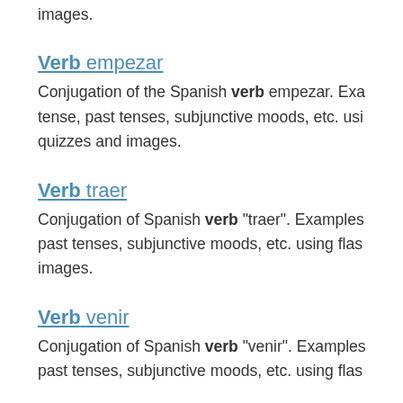images.
Verb empezar
Conjugation of the Spanish verb empezar. Exa tense, past tenses, subjunctive moods, etc. usi quizzes and images.
Verb traer
Conjugation of Spanish verb "traer". Examples past tenses, subjunctive moods, etc. using flas images.
Verb venir
Conjugation of Spanish verb "venir". Examples past tenses, subjunctive moods, etc. using flas